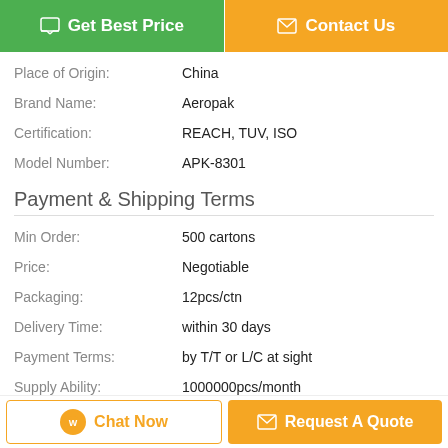[Figure (other): Two buttons: 'Get Best Price' (green) and 'Contact Us' (orange)]
| Place of Origin: | China |
| Brand Name: | Aeropak |
| Certification: | REACH, TUV, ISO |
| Model Number: | APK-8301 |
Payment & Shipping Terms
| Min Order: | 500 cartons |
| Price: | Negotiable |
| Packaging: | 12pcs/ctn |
| Delivery Time: | within 30 days |
| Payment Terms: | by T/T or L/C at sight |
| Supply Ability: | 1000000pcs/month |
Description
[Figure (other): Two bottom buttons: 'Chat Now' (outlined orange) and 'Request A Quote' (filled orange)]